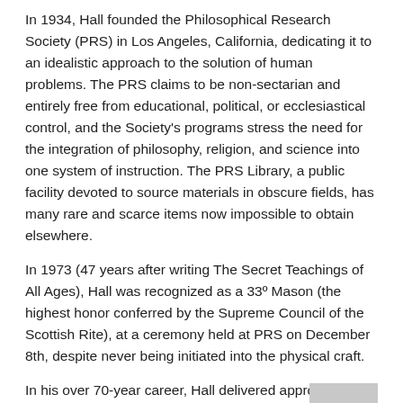In 1934, Hall founded the Philosophical Research Society (PRS) in Los Angeles, California, dedicating it to an idealistic approach to the solution of human problems. The PRS claims to be non-sectarian and entirely free from educational, political, or ecclesiastical control, and the Society's programs stress the need for the integration of philosophy, religion, and science into one system of instruction. The PRS Library, a public facility devoted to source materials in obscure fields, has many rare and scarce items now impossible to obtain elsewhere.
In 1973 (47 years after writing The Secret Teachings of All Ages), Hall was recognized as a 33º Mason (the highest honor conferred by the Supreme Council of the Scottish Rite), at a ceremony held at PRS on December 8th, despite never being initiated into the physical craft.
In his over 70-year career, Hall delivered approximately 8,000 lectures in the United States and abroad, authored over 150 books and essays, and wrote countless magazine articles.
http://www.manlyphall.org/